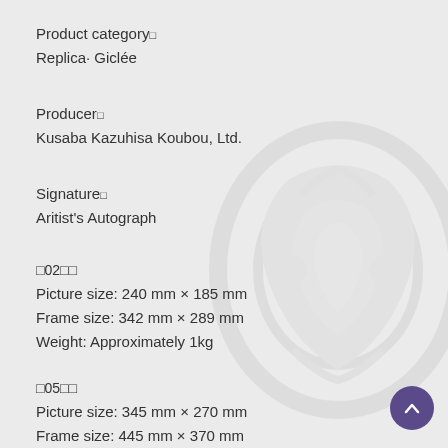Product category
Replica· Giclée
Producer
Kusaba Kazuhisa Koubou, Ltd.
Signature
Aritist's Autograph
№02
Picture size: 240 mm × 185 mm
Frame size: 342 mm × 289 mm
Weight: Approximately 1kg
№05
Picture size: 345 mm × 270 mm
Frame size: 445 mm × 370 mm
Weight: Approximately 1.5kg